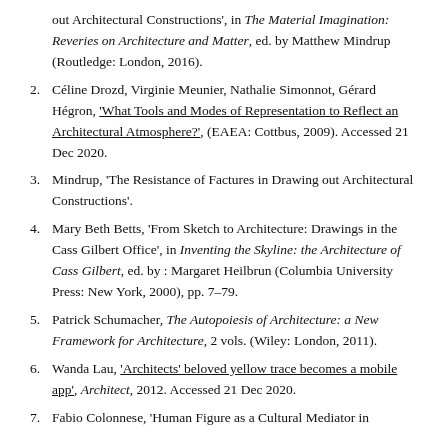out Architectural Constructions', in The Material Imagination: Reveries on Architecture and Matter, ed. by Matthew Mindrup (Routledge: London, 2016).
2. Céline Drozd, Virginie Meunier, Nathalie Simonnot, Gérard Hégron, 'What Tools and Modes of Representation to Reflect an Architectural Atmosphere?', (EAEA: Cottbus, 2009). Accessed 21 Dec 2020.
3. Mindrup, 'The Resistance of Factures in Drawing out Architectural Constructions'.
4. Mary Beth Betts, 'From Sketch to Architecture: Drawings in the Cass Gilbert Office', in Inventing the Skyline: the Architecture of Cass Gilbert, ed. by : Margaret Heilbrun (Columbia University Press: New York, 2000), pp. 7–79.
5. Patrick Schumacher, The Autopoiesis of Architecture: a New Framework for Architecture, 2 vols. (Wiley: London, 2011).
6. Wanda Lau, 'Architects' beloved yellow trace becomes a mobile app', Architect, 2012. Accessed 21 Dec 2020.
7. Fabio Colonnese, 'Human Figure as a Cultural Mediator in